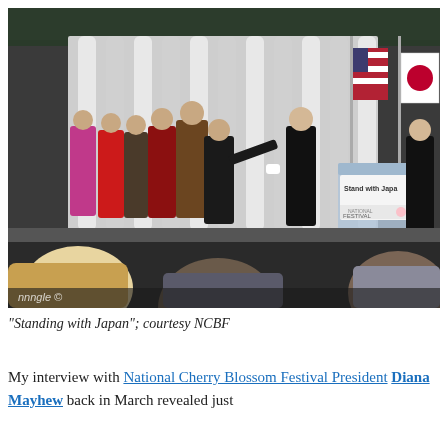[Figure (photo): Outdoor stage ceremony showing a group of people standing in a line on a stage. Two people in the center are shaking hands near a podium with a 'Stand with Japan' sign and National Cherry Blossom Festival branding. American and Japanese flags are visible. Audience members are visible in the foreground. A watermark reads 'nnngle ©'.]
"Standing with Japan"; courtesy NCBF
My interview with National Cherry Blossom Festival President Diana Mayhew back in March revealed just